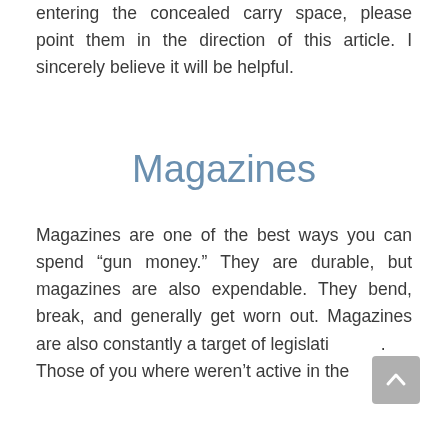entering the concealed carry space, please point them in the direction of this article. I sincerely believe it will be helpful.
Magazines
Magazines are one of the best ways you can spend “gun money.” They are durable, but magazines are also expendable. They bend, break, and generally get worn out. Magazines are also constantly a target of legislation. Those of you where weren’t active in the